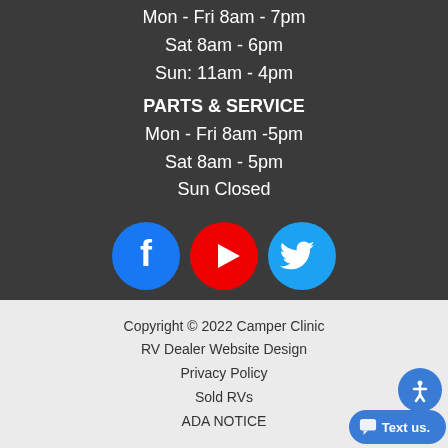Mon - Fri 8am - 7pm
Sat 8am - 6pm
Sun: 11am - 4pm
PARTS & SERVICE
Mon - Fri 8am -5pm
Sat 8am - 5pm
Sun Closed
[Figure (infographic): Three social media icons: Facebook (blue circle with white f), YouTube (red circle with white play button), Twitter (light blue circle with white bird)]
Copyright © 2022 Camper Clinic
RV Dealer Website Design
Privacy Policy
Sold RVs
ADA NOTICE
[Figure (infographic): Text us chat button with accessibility icon in bottom right corner]